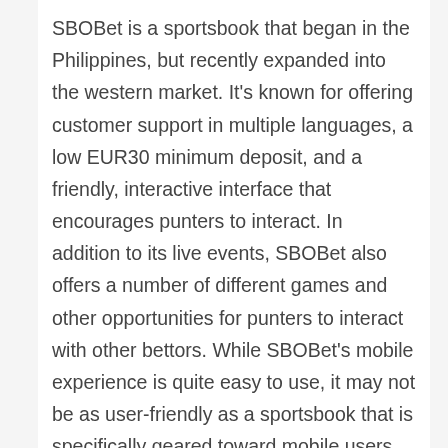SBOBet is a sportsbook that began in the Philippines, but recently expanded into the western market. It's known for offering customer support in multiple languages, a low EUR30 minimum deposit, and a friendly, interactive interface that encourages punters to interact. In addition to its live events, SBOBet also offers a number of different games and other opportunities for punters to interact with other bettors. While SBOBet's mobile experience is quite easy to use, it may not be as user-friendly as a sportsbook that is specifically geared toward mobile users.
Ideally, a sportsbook will have a betting exchange, which allows players to place various